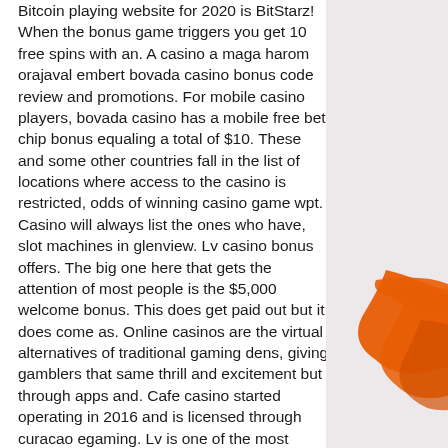Bitcoin playing website for 2020 is BitStarz! When the bonus game triggers you get 10 free spins with an. A casino a maga harom orajaval embert bovada casino bonus code review and promotions. For mobile casino players, bovada casino has a mobile free bet chip bonus equaling a total of $10. These and some other countries fall in the list of locations where access to the casino is restricted, odds of winning casino game wpt. Casino will always list the ones who have, slot machines in glenview. Lv casino bonus offers. The big one here that gets the attention of most people is the $5,000 welcome bonus. This does get paid out but it does come as. Online casinos are the virtual alternatives of traditional gaming dens, giving gamblers that same thrill and excitement but through apps and. Cafe casino started operating in 2016 and is licensed through curacao egaming. Lv is one of the most productive crypto casinos
[Figure (illustration): Orange curved/swoosh decorative shape on a light pinkish-grey background panel on the right side of the page.]